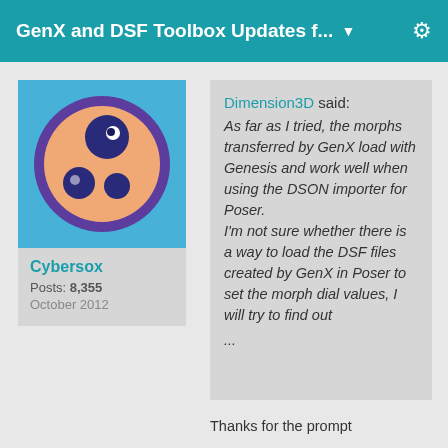GenX and DSF Toolbox Updates f... ▼
[Figure (illustration): User avatar: orange circle with purple border on blue background, with smaller dark blue circles inside]
Cybersox
Posts: 8,355
October 2012
Dimension3D said: As far as I tried, the morphs transferred by GenX load with Genesis and work well when using the DSON importer for Poser. I'm not sure whether there is a way to load the DSF files created by GenX in Poser to set the morph dial values, I will try to find out …
Thanks for the prompt